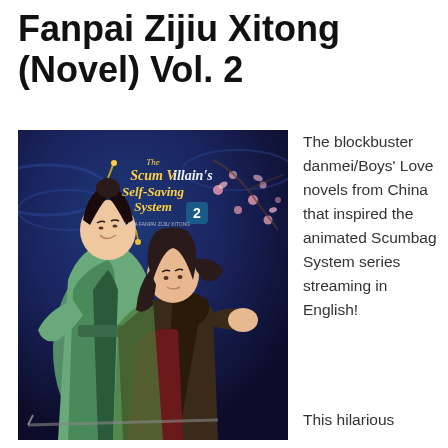Fanpai Zijiu Xitong (Novel) Vol. 2
[Figure (illustration): Book cover illustration for 'The Scum Villain's Self-Saving System Vol. 2' showing two anime-style characters in traditional Chinese robes against a dark blue background with cherry blossoms. Title text on cover reads 'The Scum Villain's Self-Saving System 2'.]
The blockbuster danmei/Boys' Love novels from China that inspired the animated Scumbag System series streaming in English!
This hilarious